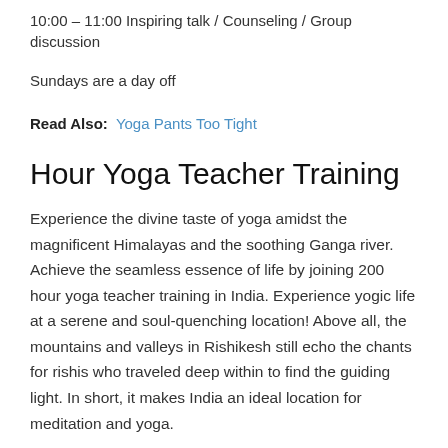10:00 – 11:00 Inspiring talk / Counseling / Group discussion
Sundays are a day off
Read Also:  Yoga Pants Too Tight
Hour Yoga Teacher Training
Experience the divine taste of yoga amidst the magnificent Himalayas and the soothing Ganga river. Achieve the seamless essence of life by joining 200 hour yoga teacher training in India. Experience yogic life at a serene and soul-quenching location! Above all, the mountains and valleys in Rishikesh still echo the chants for rishis who traveled deep within to find the guiding light. In short, it makes India an ideal location for meditation and yoga.